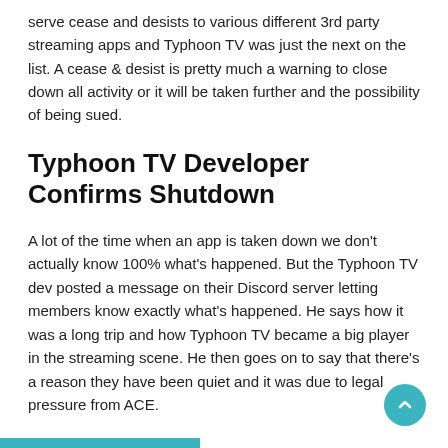serve cease and desists to various different 3rd party streaming apps and Typhoon TV was just the next on the list. A cease & desist is pretty much a warning to close down all activity or it will be taken further and the possibility of being sued.
Typhoon TV Developer Confirms Shutdown
A lot of the time when an app is taken down we don't actually know 100% what's happened. But the Typhoon TV dev posted a message on their Discord server letting members know exactly what's happened. He says how it was a long trip and how Typhoon TV became a big player in the streaming scene. He then goes on to say that there's a reason they have been quiet and it was due to legal pressure from ACE.